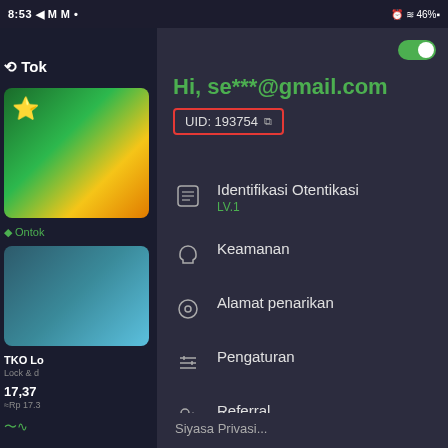[Figure (screenshot): Mobile app screenshot showing a dark-themed cryptocurrency exchange profile menu (Tokocrypto) with user email, UID, and navigation menu items including Identifikasi Otentikasi, Keamanan, Alamat penarikan, Pengaturan, Referral, Voucher, Tutorial. Left side shows partial app content with charts and price data.]
8:53  46%
Hi, se***@gmail.com
UID: 193754
Identifikasi Otentikasi LV.1
Keamanan
Alamat penarikan
Pengaturan
Referral
Voucher
Tutorial